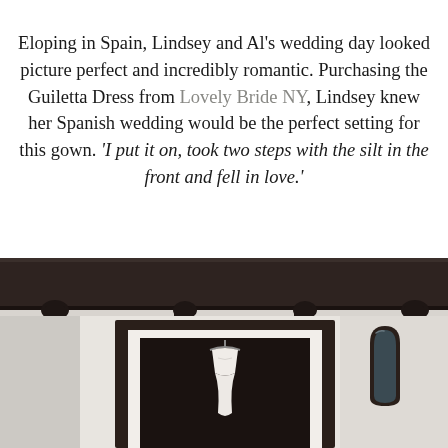Eloping in Spain, Lindsey and Al's wedding day looked picture perfect and incredibly romantic. Purchasing the Guiletta Dress from Lovely Bride NY, Lindsey knew her Spanish wedding would be the perfect setting for this gown. 'I put it on, took two steps with the silt in the front and fell in love.'
[Figure (photo): Interior of a Spanish building showing a white plastered wall with a dark wood doorway in the center with a white wedding gown hanging in the doorway, dark wood ceiling beams above, and an arched mirror on the right side.]